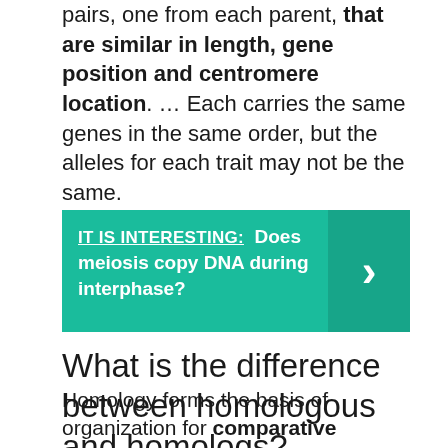Homologous chromosomes are chromosome pairs, one from each parent, that are similar in length, gene position and centromere location. … Each carries the same genes in the same order, but the alleles for each trait may not be the same.
[Figure (infographic): Teal callout box with text: IT IS INTERESTING: Does meiosis copy DNA during interphase? with a right-arrow button on the right side.]
What is the difference between homologous and homologs?
Homology forms the basis of organization for comparative biology. A homologous trait is often called a homolog (also spelled